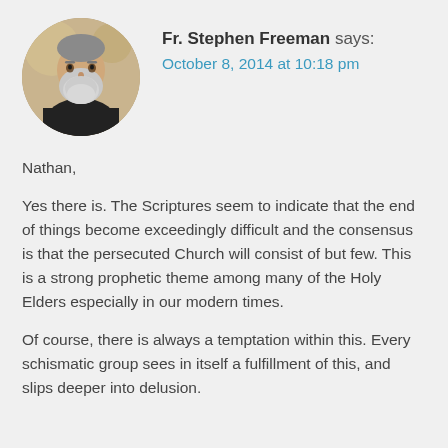[Figure (photo): Circular avatar photo of a bearded man with grey beard wearing dark clothing, against a blurred outdoor background]
Fr. Stephen Freeman says:
October 8, 2014 at 10:18 pm
Nathan,
Yes there is. The Scriptures seem to indicate that the end of things become exceedingly difficult and the consensus is that the persecuted Church will consist of but few. This is a strong prophetic theme among many of the Holy Elders especially in our modern times.

Of course, there is always a temptation within this. Every schismatic group sees in itself a fulfillment of this, and slips deeper into delusion.